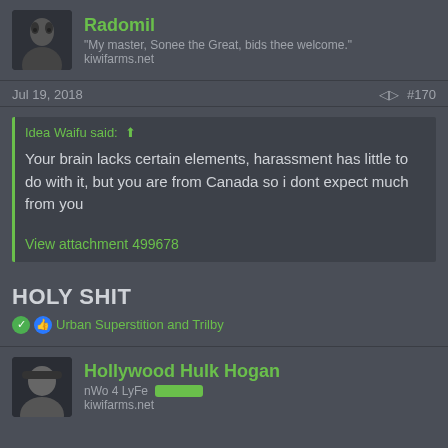Radomil
"My master, Sonee the Great, bids thee welcome." kiwifarms.net
Jul 19, 2018  #170
Idea Waifu said: ↑
Your brain lacks certain elements, harassment has little to do with it, but you are from Canada so i dont expect much from you
View attachment 499678
HOLY SHIT
Urban Superstition and Trilby
Hollywood Hulk Hogan
nWo 4 LyFe  kiwifarms.net